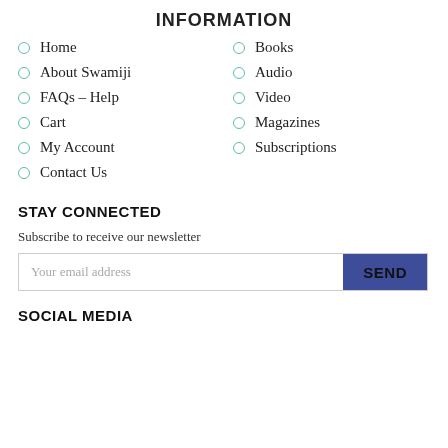INFORMATION
Home
Books
About Swamiji
Audio
FAQs – Help
Video
Cart
Magazines
My Account
Subscriptions
Contact Us
STAY CONNECTED
Subscribe to receive our newsletter
SOCIAL MEDIA